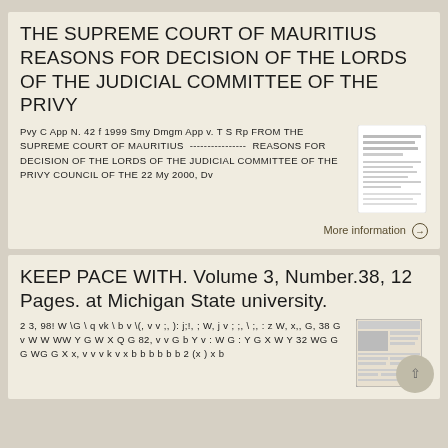THE SUPREME COURT OF MAURITIUS REASONS FOR DECISION OF THE LORDS OF THE JUDICIAL COMMITTEE OF THE PRIVY
Pvy C App N. 42 f 1999 Smy Dmgm App v. T S Rp FROM THE SUPREME COURT OF MAURITIUS ---------------- REASONS FOR DECISION OF THE LORDS OF THE JUDICIAL COMMITTEE OF THE PRIVY COUNCIL OF THE 22 My 2000, Dv
More information →
KEEP PACE WITH. Volume 3, Number.38, 12 Pages. at Michigan State university.
2 3, 98! W \G \ q vk \ b v \(, v v ;, ): j;!, ; W, j v ; ;, \ ;, : z W, x,, G, 38 G v W W WW Y G W X Q G 82, v v G b Y v : W G : Y G X W Y 32 WG G G WG G X x, v v v k v x b b b b b b 2 (x ) x b